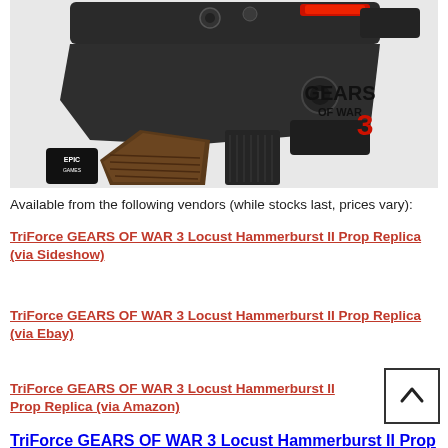[Figure (photo): Gears of War 3 Locust Hammerburst II Prop Replica — a detailed, dark metallic sci-fi gun with Gears of War 3 and Epic Games logos on white background]
Available from the following vendors (while stocks last, prices vary):
TriForce GEARS OF WAR 3 Locust Hammerburst II Prop Replica (via Sideshow)
TriForce GEARS OF WAR 3 Locust Hammerburst II Prop Replica (via Ebay)
TriForce GEARS OF WAR 3 Locust Hammerburst II Prop Replica (via Amazon)
TriForce GEARS OF WAR 3 Locust Hammerburst II Prop Replica (via